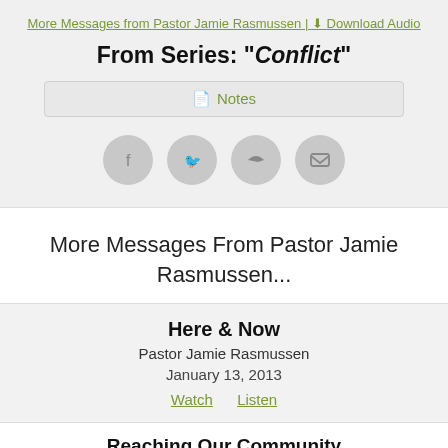More Messages from Pastor Jamie Rasmussen | Download Audio
From Series: "Conflict"
Notes
[Figure (other): Four circular social media share icons: Facebook, Twitter, Share/Forward, Email]
More Messages From Pastor Jamie Rasmussen...
Here & Now
Pastor Jamie Rasmussen
January 13, 2013
Watch   Listen
Reaching Our Community
Pastor Jamie Rasmussen